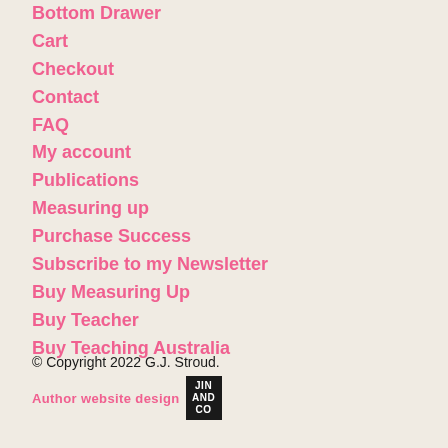Bottom Drawer
Cart
Checkout
Contact
FAQ
My account
Publications
Measuring up
Purchase Success
Subscribe to my Newsletter
Buy Measuring Up
Buy Teacher
Buy Teaching Australia
© Copyright 2022 G.J. Stroud. Author website design JIN AND CO